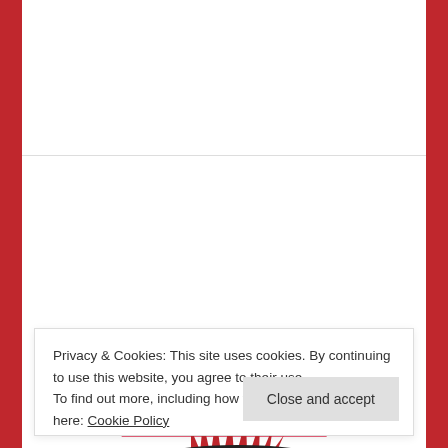OLDER POSTS
- JOIN THE SOCIALIST PARTY -
[Figure (logo): Socialist Party logo — red sunburst rays above a dark curved base]
Privacy & Cookies: This site uses cookies. By continuing to use this website, you agree to their use.
To find out more, including how to control cookies, see here: Cookie Policy
Close and accept